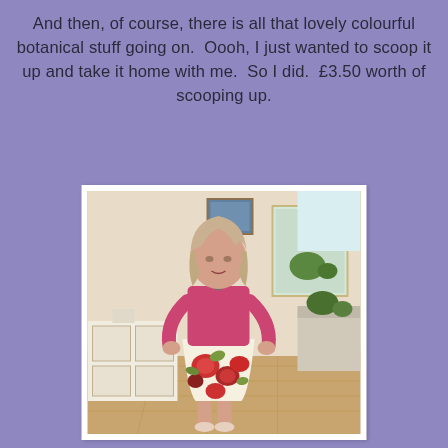And then, of course, there is all that lovely colourful botanical stuff going on.  Oooh, I just wanted to scoop it up and take it home with me.  So I did.  £3.50 worth of scooping up.
[Figure (photo): A woman with shoulder-length blonde hair wearing a pink cardigan and a white floral skirt with large red flowers, standing with hands on hips in a living room with wooden floors, plants, and a mirror visible in the background.]